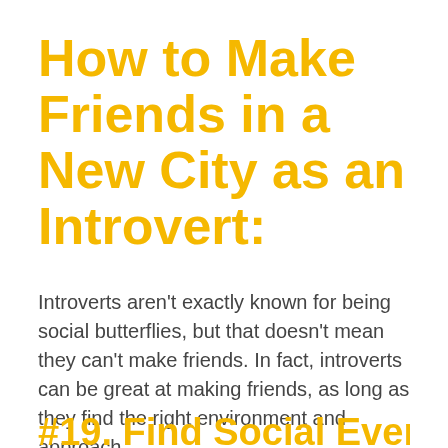How to Make Friends in a New City as an Introvert:
Introverts aren’t exactly known for being social butterflies, but that doesn’t mean they can’t make friends. In fact, introverts can be great at making friends, as long as they find the right environment and approach.
#19. Find Social Events That